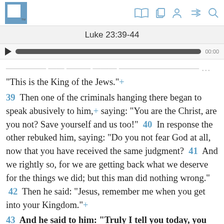Luke 23:39-44
“This is the King of the Jews.”+
39 Then one of the criminals hanging there began to speak abusively to him,+ saying: “You are the Christ, are you not? Save yourself and us too!” 40 In response the other rebuked him, saying: “Do you not fear God at all, now that you have received the same judgment? 41 And we rightly so, for we are getting back what we deserve for the things we did; but this man did nothing wrong.” 42 Then he said: “Jesus, remember me when you get into your Kingdom.”+
43 And he said to him: “Truly I tell you today, you will be with me in Paradise.”+
44 Well be...